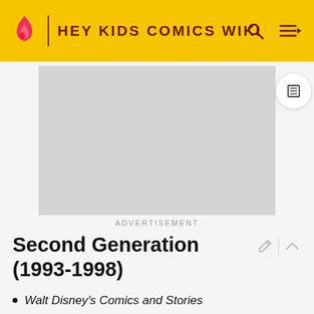HEY KIDS COMICS WIKI
[Figure (other): Advertisement placeholder – grey rectangle]
ADVERTISEMENT
Second Generation (1993-1998)
Walt Disney's Comics and Stories
Donald and Mickey